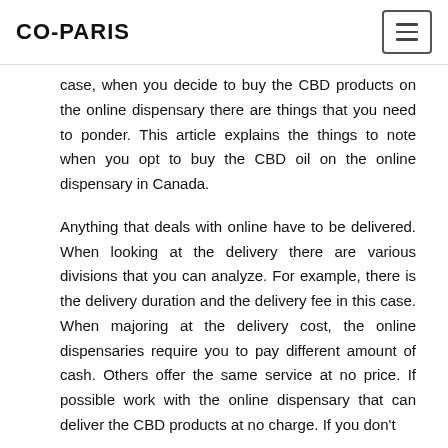CO-PARIS
case, when you decide to buy the CBD products on the online dispensary there are things that you need to ponder. This article explains the things to note when you opt to buy the CBD oil on the online dispensary in Canada.
Anything that deals with online have to be delivered. When looking at the delivery there are various divisions that you can analyze. For example, there is the delivery duration and the delivery fee in this case. When majoring at the delivery cost, the online dispensaries require you to pay different amount of cash. Others offer the same service at no price. If possible work with the online dispensary that can deliver the CBD products at no charge. If you don't